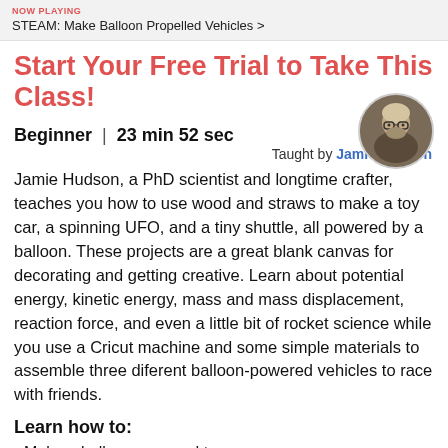NOW PLAYING
STEAM: Make Balloon Propelled Vehicles >
Start Your Free Trial to Take This Class!
Beginner  |  23 min 52 sec
[Figure (photo): Circular avatar photo of instructor Jamie Hudson, a bearded man with glasses and light-colored hair]
Taught by Jamie Hudson
Jamie Hudson, a PhD scientist and longtime crafter, teaches you how to use wood and straws to make a toy car, a spinning UFO, and a tiny shuttle, all powered by a balloon. These projects are a great blank canvas for decorating and getting creative. Learn about potential energy, kinetic energy, mass and mass displacement, reaction force, and even a little bit of rocket science while you use a Cricut machine and some simple materials to assemble three diferent balloon-powered vehicles to race with friends.
Learn how to:
Make a balloon-powered toy car